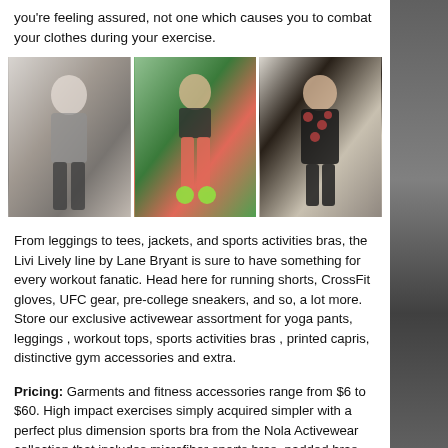you're feeling assured, not one which causes you to combat your clothes during your exercise.
[Figure (photo): Three photos side by side of women in activewear/workout clothes. Left: a woman in grey crop top and black leggings. Center: a woman running in a black jacket and red/coral leggings with neon green shoes. Right: a woman in a floral black top and black capri leggings with headphones.]
From leggings to tees, jackets, and sports activities bras, the Livi Lively line by Lane Bryant is sure to have something for every workout fanatic. Head here for running shorts, CrossFit gloves, UFC gear, pre-college sneakers, and so, a lot more. Store our exclusive activewear assortment for yoga pants, leggings , workout tops, sports activities bras , printed capris, distinctive gym accessories and extra.
Pricing: Garments and fitness accessories range from $6 to $60. High impact exercises simply acquired simpler with a perfect plus dimension sports bra from the Nola Activewear collection that includes microfiber sports bras, padded bras,